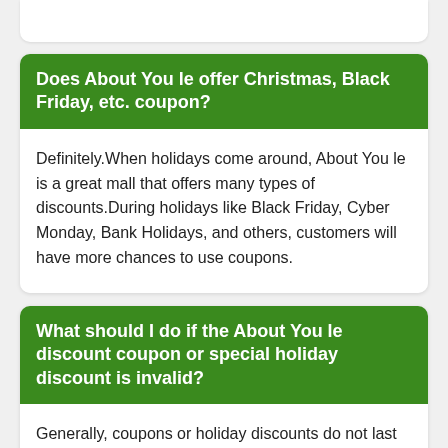Does About You le offer Christmas, Black Friday, etc. coupon?
Definitely.When holidays come around, About You le is a great mall that offers many types of discounts.During holidays like Black Friday, Cyber Monday, Bank Holidays, and others, customers will have more chances to use coupons.
What should I do if the About You le discount coupon or special holiday discount is invalid?
Generally, coupons or holiday discounts do not last forever. They usually expire 1 to 2 weeks after they were issued.To avoid wasting your money, use